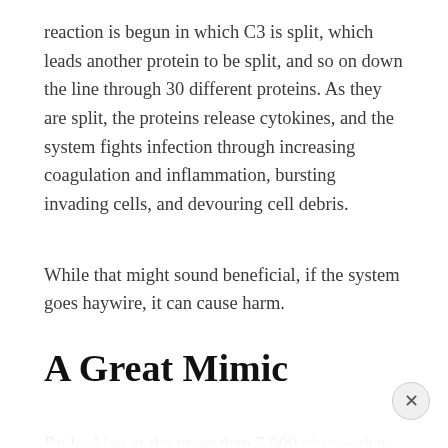reaction is begun in which C3 is split, which leads another protein to be split, and so on down the line through 30 different proteins. As they are split, the proteins release cytokines, and the system fights infection through increasing coagulation and inflammation, bursting invading cells, and devouring cell debris.
While that might sound beneficial, if the system goes haywire, it can cause harm.
A Great Mimic
By looking at the more than 7,000 viruses that exist on Earth, Researchers at Columbia University's Vagelos College of Physicians and Surgeons found that